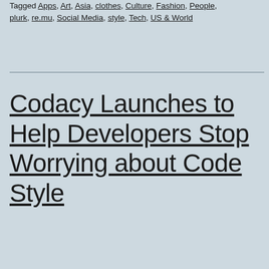Tagged Apps, Art, Asia, clothes, Culture, Fashion, People, plurk, re.mu, Social Media, style, Tech, US & World
Codacy Launches to Help Developers Stop Worrying about Code Style